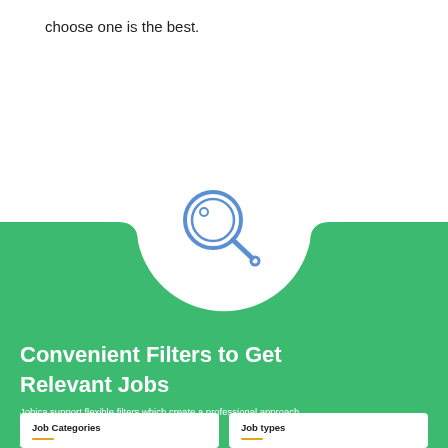choose one is the best.
[Figure (illustration): Green card panel with a circular white cutout at top containing a magnifying glass icon, title 'Convenient Filters to Get Relevant Jobs', body text, and two white sub-boxes for 'Job Categories' and 'Job types']
Convenient Filters to Get Relevant Jobs
Jobica support flexible filters which create a professional approach to help tech talents to search for the relevant jobs ads.
Job Categories
Job types